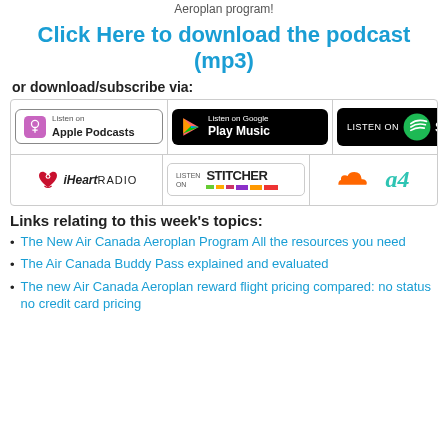Aeroplan program!
Click Here to download the podcast (mp3)
or download/subscribe via:
[Figure (logo): Podcast platform badges: Apple Podcasts, Google Play Music, Spotify, iHeartRADIO, Stitcher, SoundCloud, Acast]
Links relating to this week's topics:
The New Air Canada Aeroplan Program All the resources you need
The Air Canada Buddy Pass explained and evaluated
The new Air Canada Aeroplan reward flight pricing compared: no status no credit card pricing